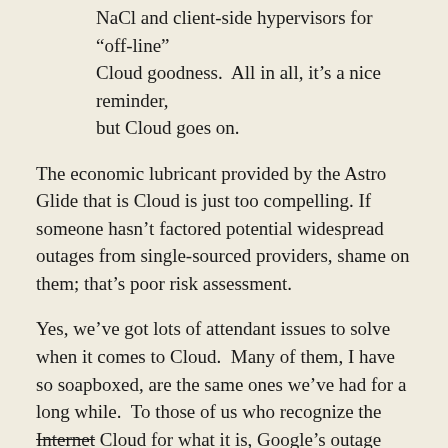NaCl and client-side hypervisors for “off-line” Cloud goodness.  All in all, it’s a nice reminder, but Cloud goes on.
The economic lubricant provided by the Astro Glide that is Cloud is just too compelling. If someone hasn’t factored potential widespread outages from single-sourced providers, shame on them; that’s poor risk assessment.
Yes, we’ve got lots of attendant issues to solve when it comes to Cloud.  Many of them, I have so soapboxed, are the same ones we’ve had for a long while.  To those of us who recognize the Internet Cloud for what it is, Google’s outage was simply an opportunity to order another Hoffachino.
What doesn’t kill us makes us…just as insecure and potentially unavailable due to some monkey pushing the